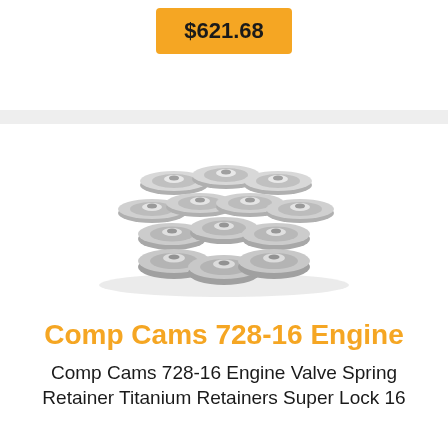$621.68
[Figure (photo): Group of metallic titanium valve spring retainers arranged in a cluster, showing their disc/washer shape with center holes.]
Comp Cams 728-16 Engine
Comp Cams 728-16 Engine Valve Spring Retainer Titanium Retainers Super Lock 16